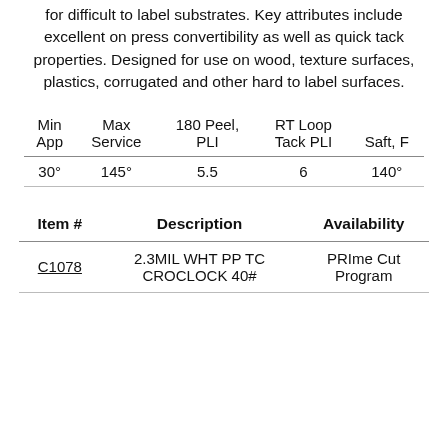for difficult to label substrates. Key attributes include excellent on press convertibility as well as quick tack properties. Designed for use on wood, texture surfaces, plastics, corrugated and other hard to label surfaces.
| Min App | Max Service | 180 Peel, PLI | RT Loop Tack PLI | Saft, F |
| --- | --- | --- | --- | --- |
| 30° | 145° | 5.5 | 6 | 140° |
| Item # | Description | Availability |
| --- | --- | --- |
| C1078 | 2.3MIL WHT PP TC CROCLOCK 40# | PRIme Cut Program |